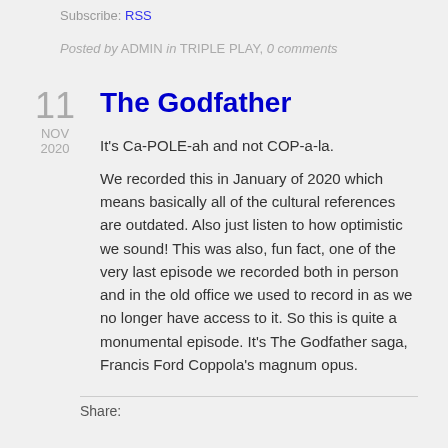Subscribe: RSS
Posted by ADMIN in TRIPLE PLAY, 0 comments
The Godfather
It's Ca-POLE-ah and not COP-a-la.
We recorded this in January of 2020 which means basically all of the cultural references are outdated. Also just listen to how optimistic we sound! This was also, fun fact, one of the very last episode we recorded both in person and in the old office we used to record in as we no longer have access to it. So this is quite a monumental episode. It's The Godfather saga, Francis Ford Coppola's magnum opus.
Share: